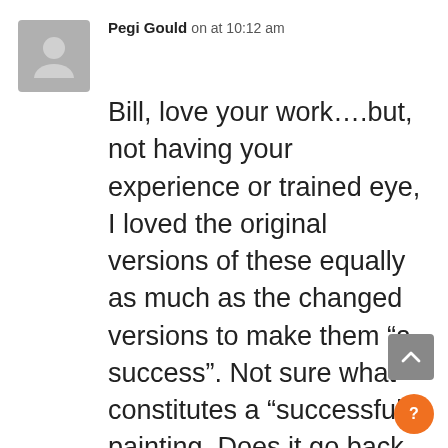[Figure (illustration): Gray avatar placeholder icon showing a generic person silhouette]
Pegi Gould on at 10:12 am
Bill, love your work….but, not having your experience or trained eye, I loved the original versions of these equally as much as the changed versions to make them “a success”. Not sure what constitutes a “successful” painting. Does it go back to rules, or isn’t beauty still in the eye of the beholder? Thank you for the e-mails and sharing your insights